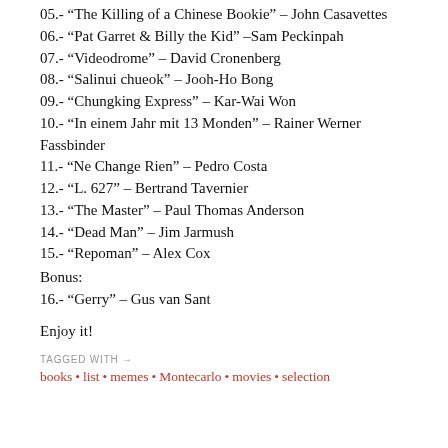05.- “The Killing of a Chinese Bookie” – John Casavettes
06.- “Pat Garret & Billy the Kid” –Sam Peckinpah
07.- “Videodrome” – David Cronenberg
08.- “Salinui chueok” – Jooh-Ho Bong
09.- “Chungking Express” – Kar-Wai Won
10.- “In einem Jahr mit 13 Monden” – Rainer Werner Fassbinder
11.- “Ne Change Rien” – Pedro Costa
12.- “L. 627” – Bertrand Tavernier
13.- “The Master” – Paul Thomas Anderson
14.- “Dead Man” – Jim Jarmush
15.- “Repoman” – Alex Cox
Bonus:
16.- “Gerry” – Gus van Sant
Enjoy it!
TAGGED WITH → books • list • memes • Montecarlo • movies • selection